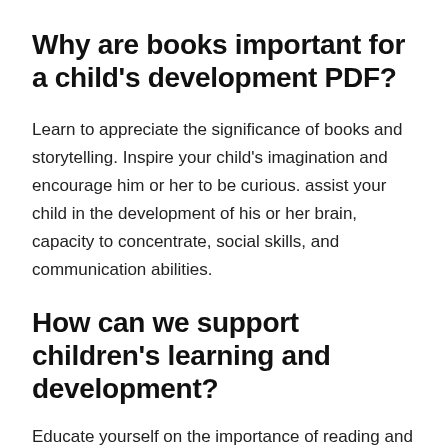Why are books important for a child's development PDF?
Learn to appreciate the significance of books and storytelling. Inspire your child's imagination and encourage him or her to be curious. assist your child in the development of his or her brain, capacity to concentrate, social skills, and communication abilities.
How can we support children's learning and development?
Educate yourself on the importance of reading and tales. To foster curiosity and imagination in your